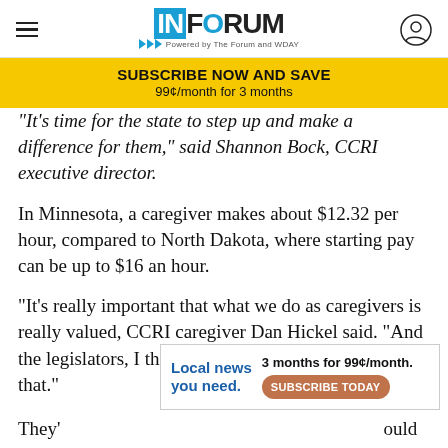INFORUM
SUBSCRIBE NOW AND SAVE
99¢/month for 3 months
"It's time for the state to step up and make a difference for them," said Shannon Bock, CCRI executive director.
In Minnesota, a caregiver makes about $12.32 per hour, compared to North Dakota, where starting pay can be up to $16 an hour.
"It's really important that what we do as caregivers is really valued, CCRI caregiver Dan Hickel said. "And the legislators, I think, really need to understand that."
[Figure (screenshot): Advertisement banner: Local news you need. 3 months for 99¢/month. Subscribe Today button.]
They'...ould